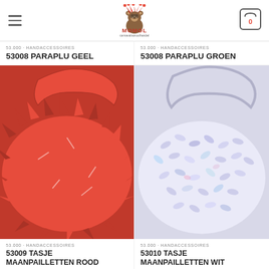MOMOL carnavalsgroothandel
53.000 · HANDACCESSOIRES
53008 PARAPLU GEEL
53.000 · HANDACCESSOIRES
53008 PARAPLU GROEN
[Figure (photo): Red feathery/spiky handbag with red handles]
53.000 · HANDACCESSOIRES
53009 TASJE MAANPAILLETTEN ROOD
[Figure (photo): White/iridescent sequined handbag with clear handles]
53.000 · HANDACCESSOIRES
53010 TASJE MAANPAILLETTEN WIT